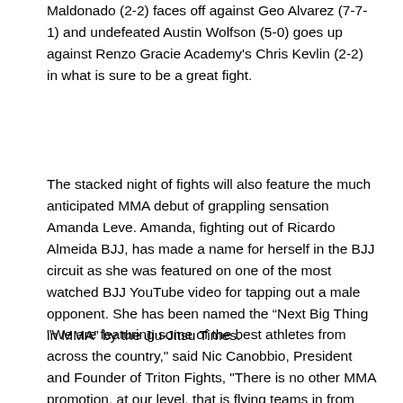Maldonado (2-2) faces off against Geo Alvarez (7-7-1) and undefeated Austin Wolfson (5-0) goes up against Renzo Gracie Academy's Chris Kevlin (2-2) in what is sure to be a great fight.
The stacked night of fights will also feature the much anticipated MMA debut of grappling sensation Amanda Leve. Amanda, fighting out of Ricardo Almeida BJJ, has made a name for herself in the BJJ circuit as she was featured on one of the most watched BJJ YouTube video for tapping out a male opponent. She has been named the “Next Big Thing in MMA” by the Jiu-Jitsu Times.
"We are featuring some of the best athletes from across the country," said Nic Canobbio, President and Founder of Triton Fights, "There is no other MMA promotion, at our level, that is flying teams in from across the country to compete here in New York. We have always gone the extra mile for our